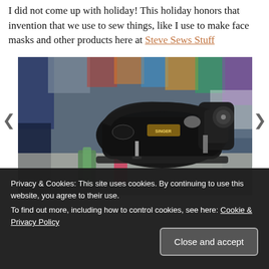I did not come up with holiday! This holiday honors that invention that we use to sew things, like I use to make face masks and other products here at Steve Sews Stuff
[Figure (photo): Close-up photo of a black vintage sewing machine (Singer brand) in a workshop setting with colorful fabrics and spools of thread visible in the background.]
Privacy & Cookies: This site uses cookies. By continuing to use this website, you agree to their use.
To find out more, including how to control cookies, see here: Cookie & Privacy Policy